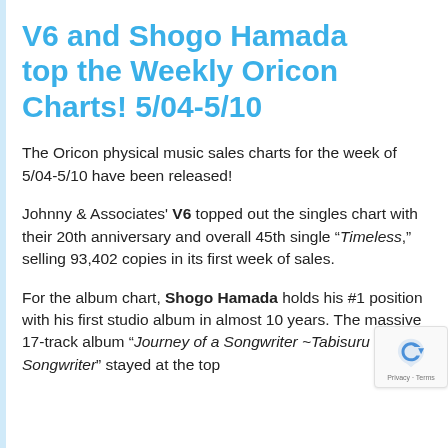V6 and Shogo Hamada top the Weekly Oricon Charts! 5/04-5/10
The Oricon physical music sales charts for the week of 5/04-5/10 have been released!
Johnny & Associates' V6 topped out the singles chart with their 20th anniversary and overall 45th single "Timeless," selling 93,402 copies in its first week of sales.
For the album chart, Shogo Hamada holds his #1 position with his first studio album in almost 10 years. The massive 17-track album "Journey of a Songwriter ~Tabisuru Songwriter" stayed at the top